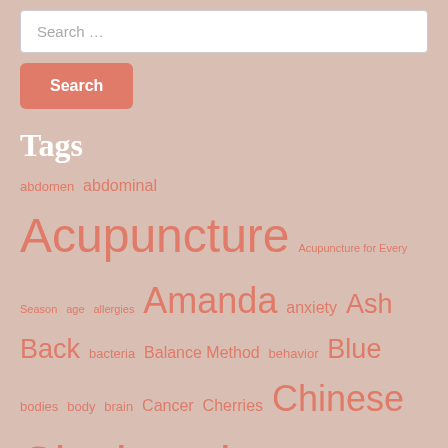Search …
Search
Tags
abdomen abdominal Acupuncture Acupuncture for Every Season age allergies Amanda anxiety Ash Back bacteria Balance Method behavior Blue bodies body brain Cancer Cherries Chinese Cincinnati complementary conventional Cupping depression digestion disease Downtown emotional featured female fertility gut healing health Herbal home infertility inflammation Irritable Bowel Syndrome IVF Klimick LED let go life LLT male massage maternity Medicine meridians mov…